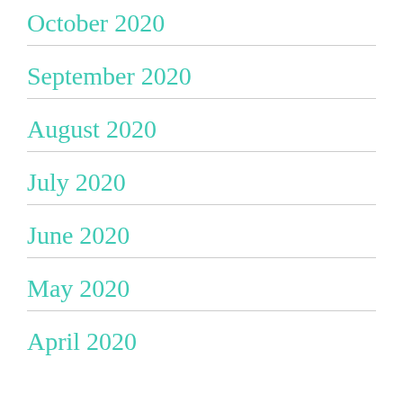October 2020
September 2020
August 2020
July 2020
June 2020
May 2020
April 2020